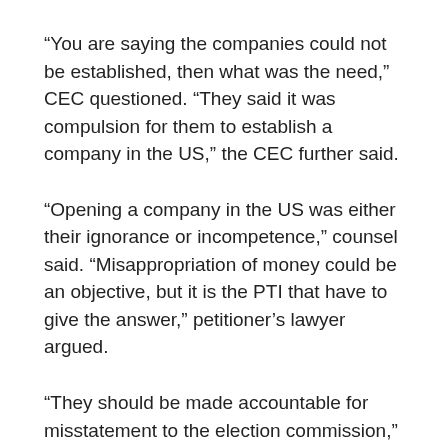“You are saying the companies could not be established, then what was the need,” CEC questioned. “They said it was compulsion for them to establish a company in the US,” the CEC further said.
“Opening a company in the US was either their ignorance or incompetence,” counsel said. “Misappropriation of money could be an objective, but it is the PTI that have to give the answer,” petitioner’s lawyer argued.
“They should be made accountable for misstatement to the election commission,” he said. “It was easier for the scrutiny committee to trace who is a Pakistani citizen and who is not.”